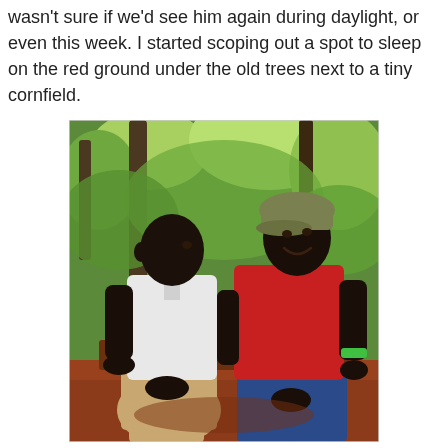wasn't sure if we'd see him again during daylight, or even this week. I started scoping out a spot to sleep on the red ground under the old trees next to a tiny cornfield.
[Figure (photo): Two men sitting outdoors on red ground. On the left, an elderly man in a white short-sleeve button-up shirt and khaki pants. On the right, a younger man in a red sleeveless shirt, blue jeans, a olive/tan cap, and a green wristband. They are seated together and the younger man is smiling. The background shows lush green tropical trees and foliage.]